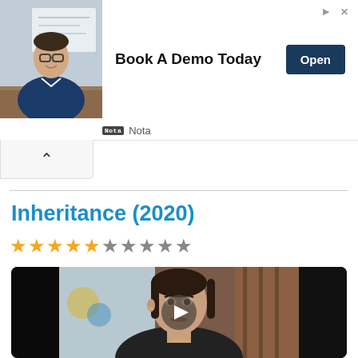[Figure (photo): Advertisement banner: man in blue shirt sitting at a desk with whiteboard behind him. Text: 'Book A Demo Today' with 'Open' button. Brand: Nota]
Book A Demo Today
Nota
Inheritance (2020)
★★★★★☆★★★★★ (star rating, approximately 5 out of 10)
[Figure (photo): Movie still from Inheritance (2020): a young woman with dark hair pulled back, wearing a dark blazer, looking intensely off-camera. Video play button overlay visible.]